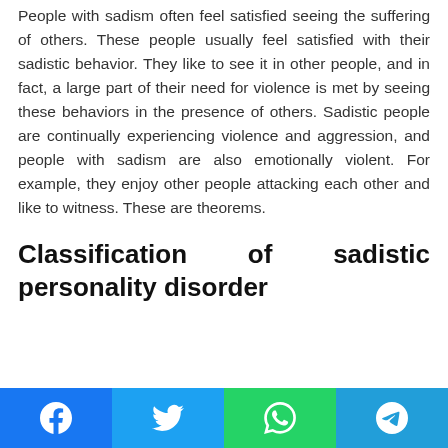People with sadism often feel satisfied seeing the suffering of others. These people usually feel satisfied with their sadistic behavior. They like to see it in other people, and in fact, a large part of their need for violence is met by seeing these behaviors in the presence of others. Sadistic people are continually experiencing violence and aggression, and people with sadism are also emotionally violent. For example, they enjoy other people attacking each other and like to witness. These are theorems.
Classification of sadistic personality disorder